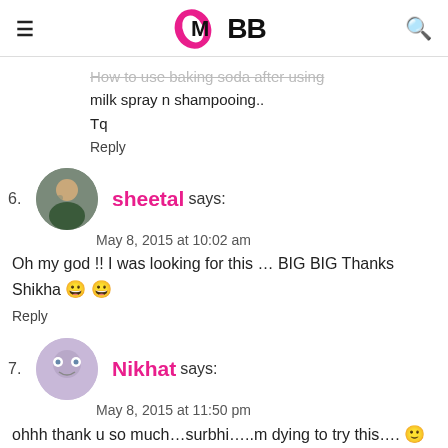IMBB
How to use baking soda after using milk spray n shampooing..
Tq
Reply
6. sheetal says:
May 8, 2015 at 10:02 am
Oh my god !! I was looking for this ... BIG BIG Thanks Shikha 😀 😀
Reply
7. Nikhat says:
May 8, 2015 at 11:50 pm
ohhh thank u so much...surbhi.....m dying to try this.... 🙂